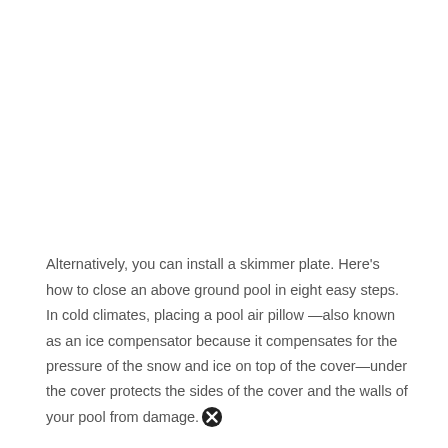Alternatively, you can install a skimmer plate. Here's how to close an above ground pool in eight easy steps. In cold climates, placing a pool air pillow —also known as an ice compensator because it compensates for the pressure of the snow and ice on top of the cover—under the cover protects the sides of the cover and the walls of your pool from damage.